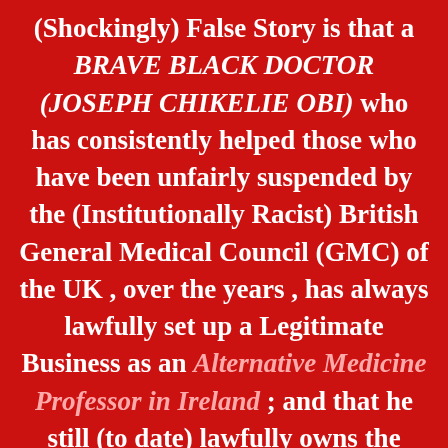(Shockingly) False Story is that a BRAVE BLACK DOCTOR (JOSEPH CHIKELIE OBI) who has consistently helped those who have been unfairly suspended by the (Institutionally Racist) British General Medical Council (GMC) of the UK , over the years , has always lawfully set up a Legitimate Business as an Alternative Medicine Professor in Ireland ; and that he still (to date) lawfully owns the Statutory Irish Trademarks of the Royal College of Alternative Medicine (RCAM) and the Fellowship Designation